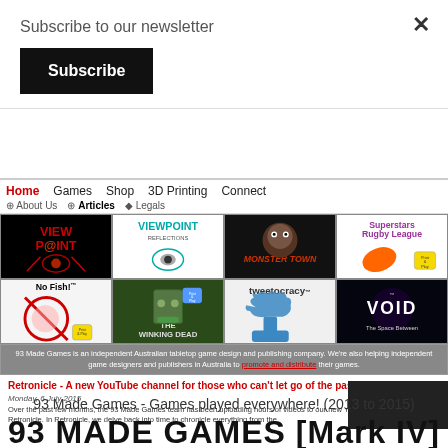Subscribe to our newsletter
Subscribe
[Figure (screenshot): 93 Made Games website screenshot showing navigation bar with Home, Games, Shop, 3D Printing, Connect links; game grid with Viewpoint, Viewpoint Reflections, Monster Town, Superstars Rugby League, No Fish!, The Winking Dead, Tweetocracy, VOID The Space Between; footer bar and article excerpt about Retronicle YouTube channel]
93 Made Games - Games played everywhere! (2013 to 2015)
93 MADE GAMES [Mark IV]